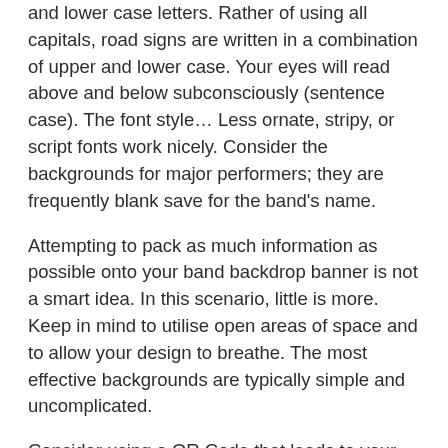and lower case letters. Rather of using all capitals, road signs are written in a combination of upper and lower case. Your eyes will read above and below subconsciously (sentence case). The font style… Less ornate, stripy, or script fonts work nicely. Consider the backgrounds for major performers; they are frequently blank save for the band's name.
Attempting to pack as much information as possible onto your band backdrop banner is not a smart idea. In this scenario, little is more. Keep in mind to utilise open areas of space and to allow your design to breathe. The most effective backgrounds are typically simple and uncomplicated.
Consider using a QR Code that leads to your band's website or social media presence in your design.
The Article Band Backdrops & Stage Cloths – Why